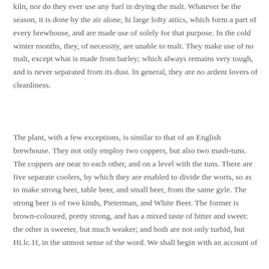kiln, nor do they ever use any fuel in drying the malt. Whatever be the season, it is done by the air alone, hi large lofty attics, which form a part of every brewhouse, and are made use of solely for that purpose. In the cold winter months, they, of necessity, are unable to malt. They make use of no malt, except what is made from barley; which always remains very tough, and is never separated from its dust. In general, they are no ardent lovers of cleanliness.
The plant, with a few exceptions, is similar to that of an English brewhouse. They not only employ two coppers, but also two mash-tuns. The coppers are near to each other, and on a level with the tuns. There are five separate coolers, by which they are enabled to divide the worts, so as to make strong beer, table beer, and small beer, from the same gyle. The strong beer is of two kinds, Pieterman, and White Beer. The former is brown-coloured, pretty strong, and has a mixed taste of bitter and sweet: the other is sweeter, but much weaker; and both are not only turbid, but Hi.lc.1f, in the utmost sense of the word. We shall begin with an account of